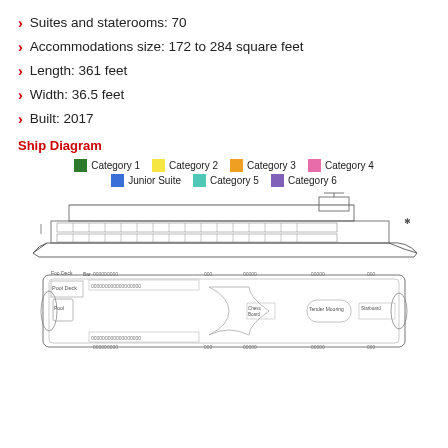Suites and staterooms: 70
Accommodations size: 172 to 284 square feet
Length: 361 feet
Width: 36.5 feet
Built: 2017
Ship Diagram
[Figure (engineering-diagram): Ship diagram showing side profile and top-down deck plan of a river cruise ship, with color-coded legend for cabin categories: Category 1 (dark green), Category 2 (yellow), Category 3 (orange), Category 4 (pink), Junior Suite (blue), Category 5 (teal), Category 6 (purple). Side profile shows a long flat-bottomed river vessel. Top view shows deck layout including pool deck, bar, chess board, tender mooring, and starboard areas.]